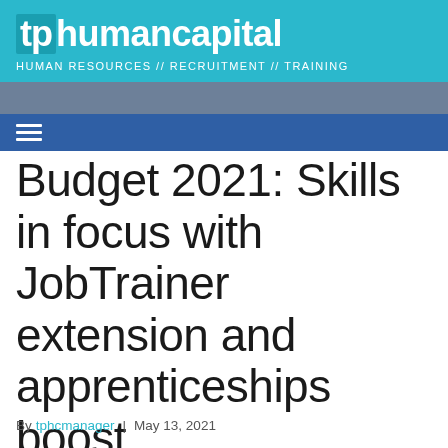tp humancapital — HUMAN RESOURCES // RECRUITMENT // TRAINING
Budget 2021: Skills in focus with JobTrainer extension and apprenticeships boost
By tphcmanager | May 13, 2021